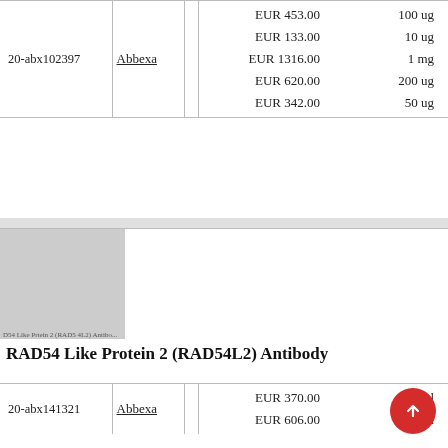| ID | Vendor |  | Price | Quantity |
| --- | --- | --- | --- | --- |
|  |  | EUR 453.00 | 100 ug |
|  |  | EUR 133.00 | 10 ug |
| 20-abx102397 | Abbexa | EUR 1316.00 | 1 mg |
|  |  | EUR 620.00 | 200 ug |
|  |  | EUR 342.00 | 50 ug |
[Figure (photo): Product image placeholder for RAD54 Like Protein 2 (RAD54L2) Antibody, gray rectangle with small text label]
RAD54 Like Protein 2 (RAD54L2) Antibody
| ID | Vendor |  | Price | Quantity |
| --- | --- | --- | --- | --- |
|  |  | EUR 370.00 | 100 ul |
| 20-abx141321 | Abbexa | EUR 606.00 | 200 ul |